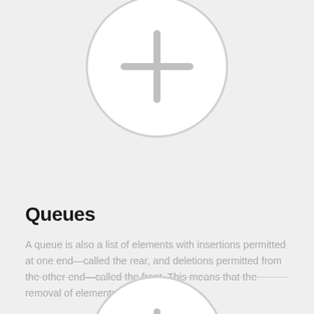[Figure (illustration): Circle with a plus sign inside, gray outline on light gray background, top of page (partially visible)]
Queues
A queue is also a list of elements with insertions permitted at one end—called the rear, and deletions permitted from the other end—called the front. This means that the removal of elements from a...
STACKS AND QUEUES   FEBRUARY 24, 2013
[Figure (illustration): Circle with a plus sign inside, gray outline on light gray background, bottom of page (partially visible)]